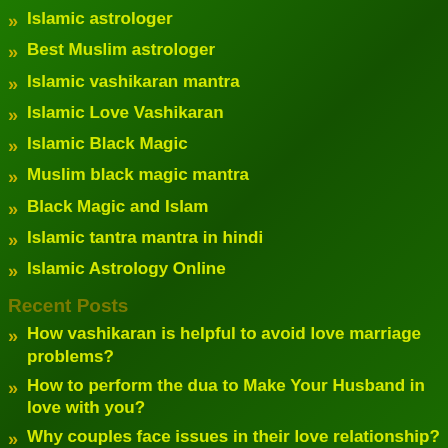Islamic astrologer
Best Muslim astrologer
Islamic vashikaran mantra
Islamic Love Vashikaran
Islamic Black Magic
Muslim black magic mantra
Black Magic and Islam
Islamic tantra mantra in hindi
Islamic Astrology Online
Recent Posts
How vashikaran is helpful to avoid love marriage problems?
How to perform the dua to Make Your Husband in love with you?
Why couples face issues in their love relationship?
What are the symptoms of black magic?
How Muslim astrology is helpful to resolve the breakup